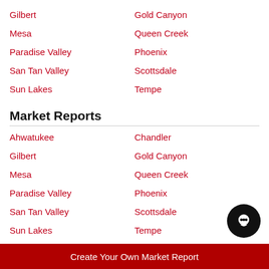Gilbert
Gold Canyon
Mesa
Queen Creek
Paradise Valley
Phoenix
San Tan Valley
Scottsdale
Sun Lakes
Tempe
Market Reports
Ahwatukee
Chandler
Gilbert
Gold Canyon
Mesa
Queen Creek
Paradise Valley
Phoenix
San Tan Valley
Scottsdale
Sun Lakes
Tempe
Create Your Own Market Report